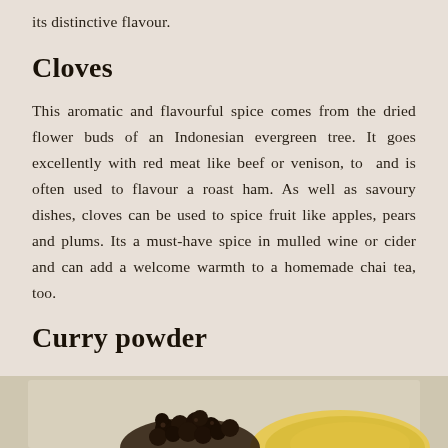its distinctive flavour.
Cloves
This aromatic and flavourful spice comes from the dried flower buds of an Indonesian evergreen tree. It goes excellently with red meat like beef or venison, to  and is often used to flavour a roast ham. As well as savoury dishes, cloves can be used to spice fruit like apples, pears and plums. Its a must-have spice in mulled wine or cider and can add a welcome warmth to a homemade chai tea, too.
Curry powder
[Figure (photo): Photo showing dark cloves/berries on the left side and yellow curry powder on the right side, partially cropped at bottom of page.]